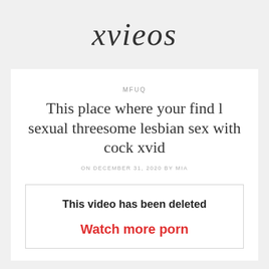xvieos
MFUQ
This place where your find l sexual threesome lesbian sex with cock xvid
ON DECEMBER 31, 2020 BY MIA
This video has been deleted
Watch more porn